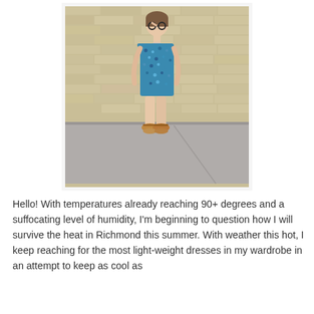[Figure (photo): A young woman wearing a blue patterned sleeveless dress and tan/brown sandals, standing in front of a yellow/tan brick wall on a sidewalk. She is wearing round sunglasses.]
Hello! With temperatures already reaching 90+ degrees and a suffocating level of humidity, I'm beginning to question how I will survive the heat in Richmond this summer. With weather this hot, I keep reaching for the most light-weight dresses in my wardrobe in an attempt to keep as cool as